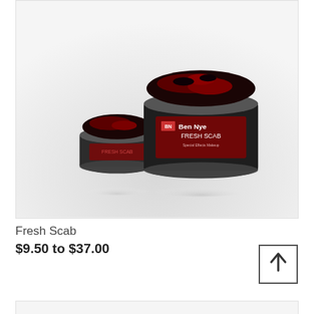[Figure (photo): Two glass jars of Ben Nye Fresh Scab special effects makeup product — a smaller jar on the left and a larger jar on the right, both open and showing the dark red/black scab-like contents. The larger jar has a black label reading 'BN Ben Nye Fresh Scab'. Both jars sit on a reflective white/grey surface.]
Fresh Scab
$9.50 to $37.00